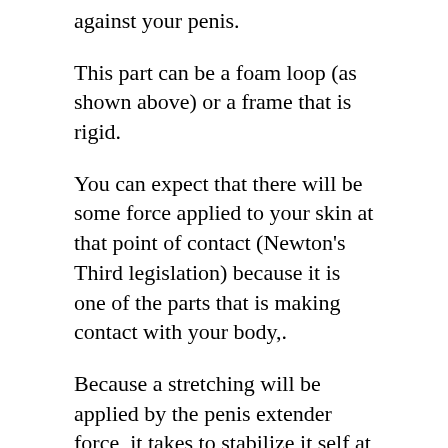against your penis.
This part can be a foam loop (as shown above) or a frame that is rigid.
You can expect that there will be some force applied to your skin at that point of contact (Newton's Third legislation) because it is one of the parts that is making contact with your body,.
Because a stretching will be applied by the penis extender force, it takes to stabilize it self at this base part.
This will be slightly annoying or irritating for some dudes.
Some guys could be more sensitive to the potent force applied to the root of the penis shaft, compared to others. However what we find with many guys is that